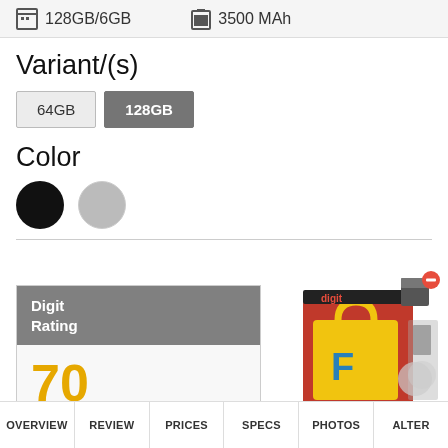128GB/6GB   3500 MAh
Variant/(s)
64GB  128GB
Color
[Figure (illustration): Two color swatches: black circle and gray circle]
| Digit Rating |
| --- |
| 70 |
| Out of 100 |
[Figure (illustration): Flipkart advertisement banner with digit logo, showing a yellow shopping bag with Flipkart logo and product images]
OVERVIEW   REVIEW   PRICES   SPECS   PHOTOS   ALTER